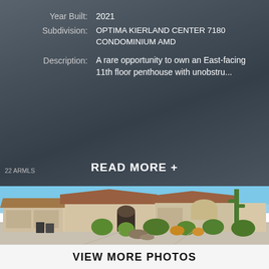| Field | Value |
| --- | --- |
| Year Built: | 2021 |
| Subdivision: | OPTIMA KIERLAND CENTER 7180 CONDOMINIUM AMD |
| Description: | A rare opportunity to own an East-facing 11th floor penthouse with unobstru... |
READ MORE +
22 ARMLS
[Figure (photo): Exterior photo of a single-story desert-style home with tan/beige stucco, tile roof, 3-car garage, and desert landscaping with cacti and green shrubs]
VIEW MORE PHOTOS